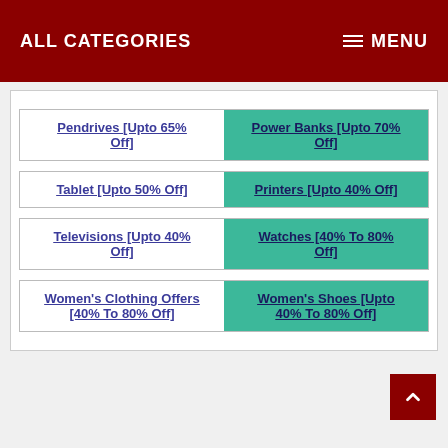ALL CATEGORIES   MENU
Pendrives [Upto 65% Off]
Power Banks [Upto 70% Off]
Tablet [Upto 50% Off]
Printers [Upto 40% Off]
Televisions [Upto 40% Off]
Watches [40% To 80% Off]
Women's Clothing Offers [40% To 80% Off]
Women's Shoes [Upto 40% To 80% Off]